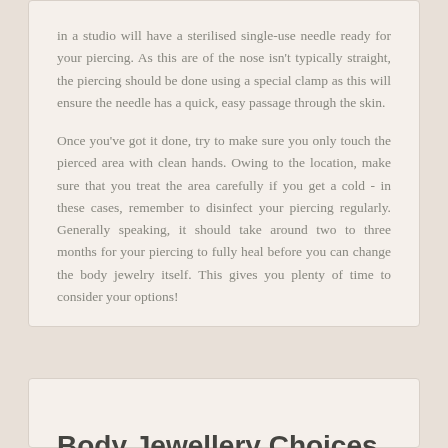in a studio will have a sterilised single-use needle ready for your piercing. As this are of the nose isn't typically straight, the piercing should be done using a special clamp as this will ensure the needle has a quick, easy passage through the skin.
Once you've got it done, try to make sure you only touch the pierced area with clean hands. Owing to the location, make sure that you treat the area carefully if you get a cold - in these cases, remember to disinfect your piercing regularly. Generally speaking, it should take around two to three months for your piercing to fully heal before you can change the body jewelry itself. This gives you plenty of time to consider your options!
Body Jewellery Choices
These piercings have a great history! Popular in many African cultures, as well as Indian and Native